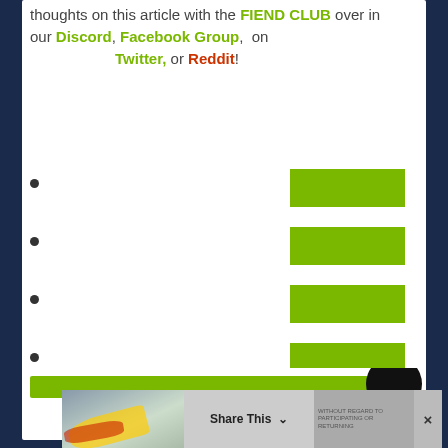thoughts on this article with the FIEND CLUB over in our Discord, Facebook Group, on Twitter, or Reddit!
[green button]
[green button]
[green button]
[green button]
[Figure (screenshot): Bottom portion of webpage with dark navy background, a green bar, avatar circle, and a share banner with an airplane image at the bottom]